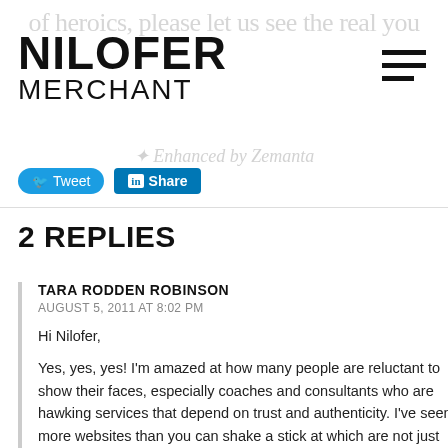NILOFER MERCHANT
[Figure (logo): Nilofer Merchant website logo with hamburger menu icon]
Tweet  Share
2 REPLIES
TARA RODDEN ROBINSON
AUGUST 5, 2011 AT 8:02 PM

Hi Nilofer,

Yes, yes, yes! I'm amazed at how many people are reluctant to show their faces, especially coaches and consultants who are hawking services that depend on trust and authenticity. I've seen more websites than you can shake a stick at which are not just faceless, but nameless, too. It's crazy!